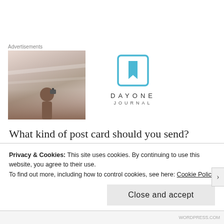Advertisements
[Figure (photo): A person holding a camera up to their head against a light sky background]
[Figure (logo): Day One Journal logo: a blue square with a bookmark icon, with text DAYONE JOURNAL below]
What kind of post card should you send? Whatever strikes your fancy! There are cards of places you've been, sights you've seen, and more.  Some are big,
Privacy & Cookies: This site uses cookies. By continuing to use this website, you agree to their use.
To find out more, including how to control cookies, see here: Cookie Policy
Close and accept